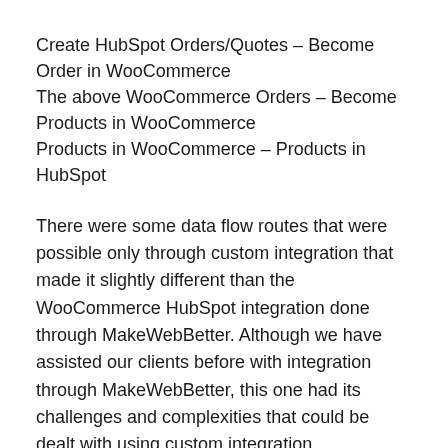Create HubSpot Orders/Quotes – Become Order in WooCommerce
The above WooCommerce Orders – Become Products in WooCommerce
Products in WooCommerce – Products in HubSpot
There were some data flow routes that were possible only through custom integration that made it slightly different than the WooCommerce HubSpot integration done through MakeWebBetter. Although we have assisted our clients before with integration through MakeWebBetter, this one had its challenges and complexities that could be dealt with using custom integration.